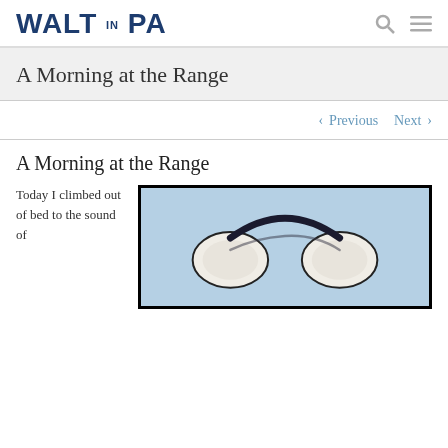WALT IN PA
A Morning at the Range
< Previous   Next >
A Morning at the Range
Today I climbed out of bed to the sound of
[Figure (photo): A pair of white ear protection headphones/muffs with black band against a light blue background]